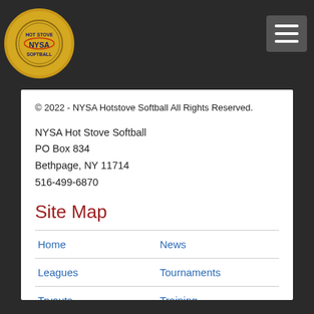[Figure (logo): NYSA Hot Stove Softball circular logo with gold border]
© 2022 - NYSA Hotstove Softball All Rights Reserved.
NYSA Hot Stove Softball
PO Box 834
Bethpage, NY 11714
516-499-6870
Site Map
Home
News
Leagues
Tournaments
Tryouts
Training
Sponsors
What We Offer
Rules & Forms
Privacy Policy